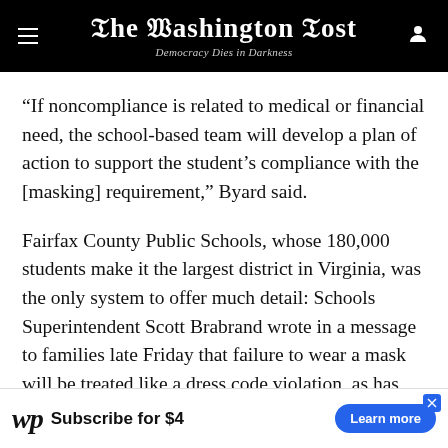The Washington Post — Democracy Dies in Darkness
“If noncompliance is related to medical or financial need, the school-based team will develop a plan of action to support the student’s compliance with the [masking] requirement,” Byard said.
Fairfax County Public Schools, whose 180,000 students make it the largest district in Virginia, was the only system to offer much detail: Schools Superintendent Scott Brabrand wrote in a message to families late Friday that failure to wear a mask will be treated like a dress code violation, as has been the case throughout
[Figure (other): Washington Post subscription advertisement banner: WP logo, 'Subscribe for $4', 'Learn more' button]